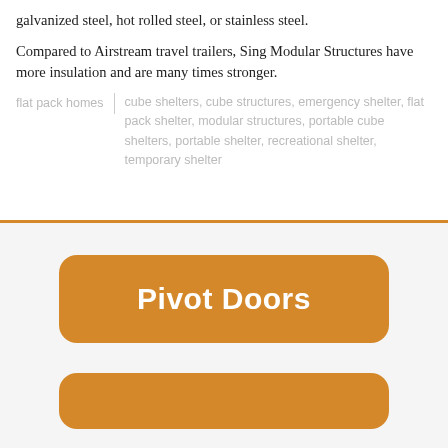galvanized steel, hot rolled steel, or stainless steel.
Compared to Airstream travel trailers, Sing Modular Structures have more insulation and are many times stronger.
flat pack homes | cube shelters, cube structures, emergency shelter, flat pack shelter, modular structures, portable cube shelters, portable shelter, recreational shelter, temporary shelter
[Figure (other): Orange rounded rectangle button labeled 'Pivot Doors' on a light gray background section, with an orange horizontal dividing line above the section and a partial orange button visible at the bottom.]